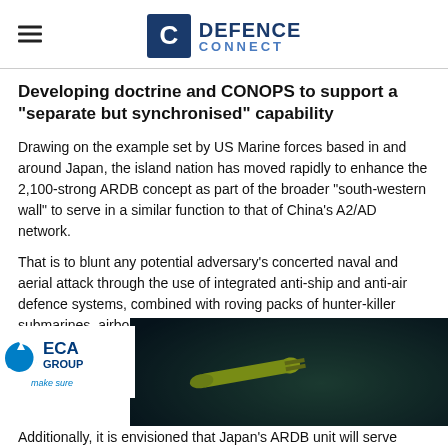DEFENCE CONNECT
Developing doctrine and CONOPS to support a "separate but synchronised" capability
Drawing on the example set by US Marine forces based in and around Japan, the island nation has moved rapidly to enhance the 2,100-strong ARDB concept as part of the broader “south-western wall” to serve in a similar function to that of China’s A2/AD network.
That is to blunt any potential adversary’s concerted naval and aerial attack through the use of integrated anti-ship and anti-air defence systems, combined with roving packs of hunter-killer submarines, airborne early warning, command and control aircraft, fighters and, in the event of an amphibious occupa
[Figure (logo): ECA Group make sure logo with swirl icon]
[Figure (photo): Underwater torpedo/submersible vehicle, green/yellow colored, on dark ocean background]
Additionally, it is envisioned that Japan’s ARDB unit will serve